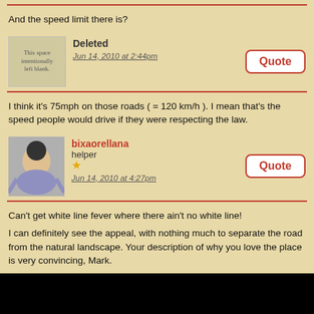And the speed limit there is?
Deleted
Jun 14, 2010 at 2:44pm
I think it's 75mph on those roads ( = 120 km/h ). I mean that's the speed people would drive if they were respecting the law.
bixaorellana
helper
Jun 14, 2010 at 4:27pm
Can't get white line fever where there ain't no white line!

I can definitely see the appeal, with nothing much to separate the road from the natural landscape. Your description of why you love the place is very convincing, Mark.
hwinpp
member
Jun 15, 2010 at 9:44am